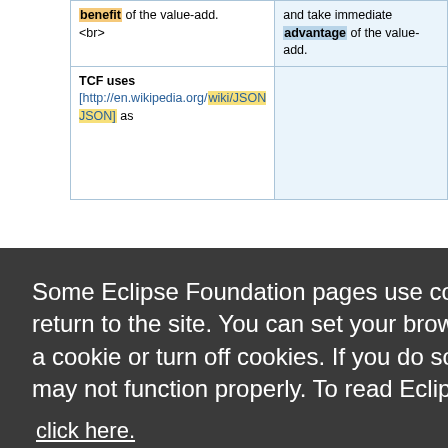| benefit of the value-add.
<br> | and take immediate advantage of the value-add. |
| TCF uses [http://en.wikipedia.org/wiki/JSON JSON] as |  |
| embedded software |  |
Some Eclipse Foundation pages use cookies to better serve you when you return to the site. You can set your browser to notify you before you receive a cookie or turn off cookies. If you do so, however, some areas of some sites may not function properly. To read Eclipse Foundation Privacy Policy
click here.